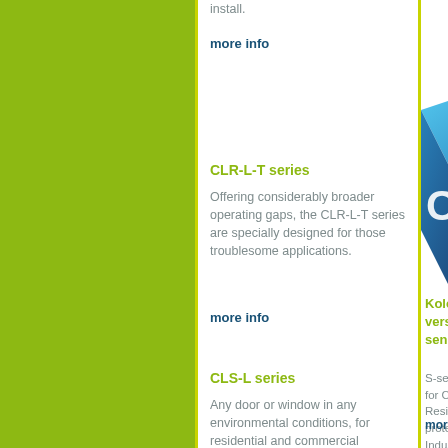install.
more info
CLR-L-T series
Offering considerably broader operating gaps, the CLR-L-T series are specially designed for those troublesome applications.
more info
[Figure (logo): Blue geometric logo shape partially visible on right side]
Koloona versatile sensors
S-series designed for Commercial, Residential protection, Industrial
more info
CLS-L series
Any door or window in any environmental conditions, for residential and commercial markets, specially designed to handle large operating gaps